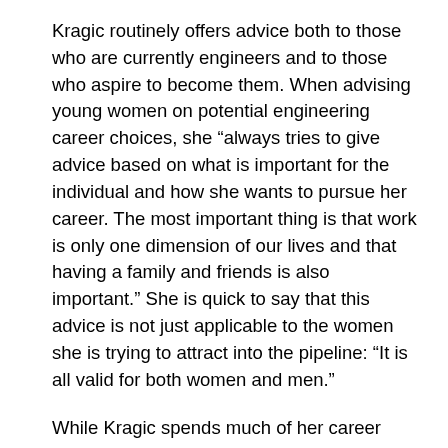Kragic routinely offers advice both to those who are currently engineers and to those who aspire to become them. When advising young women on potential engineering career choices, she “always tries to give advice based on what is important for the individual and how she wants to pursue her career. The most important thing is that work is only one dimension of our lives and that having a family and friends is also important.” She is quick to say that this advice is not just applicable to the women she is trying to attract into the pipeline: “It is all valid for both women and men.”
While Kragic spends much of her career advising students in engineering-specific issues, much of her advice can be applied to life as well. “You cannot do everything perfectly, at least not all the time. I think it is important to know your own strengths and use them for achieving what you want. It’s also important to know